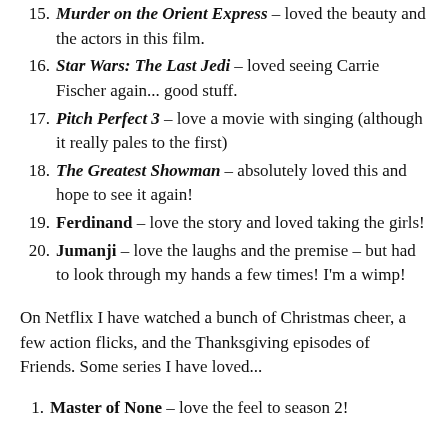15. Murder on the Orient Express – loved the beauty and the actors in this film.
16. Star Wars: The Last Jedi – loved seeing Carrie Fischer again... good stuff.
17. Pitch Perfect 3 – love a movie with singing (although it really pales to the first)
18. The Greatest Showman – absolutely loved this and hope to see it again!
19. Ferdinand – love the story and loved taking the girls!
20. Jumanji – love the laughs and the premise – but had to look through my hands a few times! I'm a wimp!
On Netflix I have watched a bunch of Christmas cheer, a few action flicks, and the Thanksgiving episodes of Friends. Some series I have loved...
1. Master of None – love the feel to season 2!